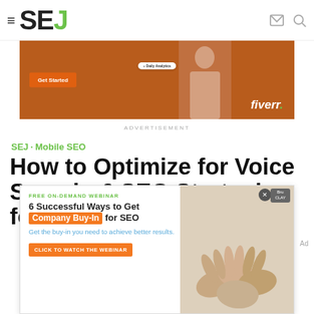SEJ
[Figure (infographic): Fiverr advertisement banner with orange background, Get Started button, analytics badge, and person figure]
ADVERTISEMENT
SEJ · Mobile SEO
How to Optimize for Voice Search: 6 SEO Strategies for Success
[Figure (infographic): Overlay advertisement: FREE ON-DEMAND WEBINAR — 6 Successful Ways to Get Company Buy-In for SEO. Get the buy-in you need to achieve better results. CLICK TO WATCH THE WEBINAR. Right side shows hands joining together.]